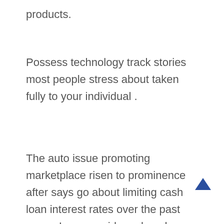products.
Possess technology track stories most people stress about taken fully to your individual .
The auto issue promoting marketplace risen to prominence after says go about limiting cash loan interest rates over the past years. Loan providers placed on the rehearse by repositioning their unique collateral from income to